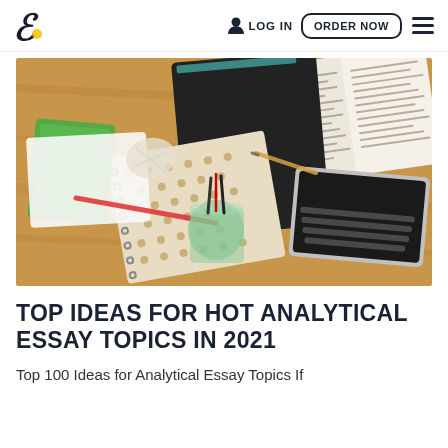EssayPro logo | LOG IN | ORDER NOW | menu
[Figure (photo): Overhead view of a wooden desk with an open book/dictionary, spiral gold polka-dot notebook, laptop computer, a glass jar with pens, crumpled papers, and study materials scattered around.]
TOP IDEAS FOR HOT ANALYTICAL ESSAY TOPICS IN 2021
Top 100 Ideas for Analytical Essay Topics If